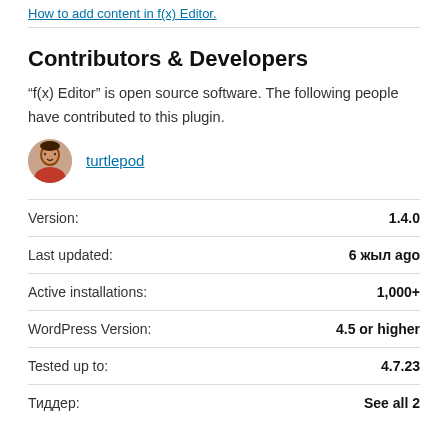How to add content in f(x) Editor.
Contributors & Developers
“f(x) Editor” is open source software. The following people have contributed to this plugin.
turtlepod
| Label | Value |
| --- | --- |
| Version: | 1.4.0 |
| Last updated: | 6 жыл ago |
| Active installations: | 1,000+ |
| WordPress Version: | 4.5 or higher |
| Tested up to: | 4.7.23 |
| Тиддер: | See all 2 |